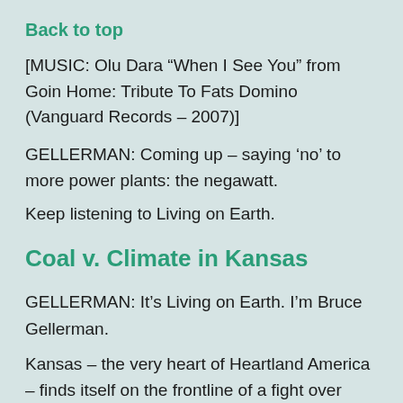Back to top
[MUSIC: Olu Dara “When I See You” from Goin Home: Tribute To Fats Domino (Vanguard Records – 2007)]
GELLERMAN: Coming up – saying ‘no’ to more power plants: the negawatt.
Keep listening to Living on Earth.
Coal v. Climate in Kansas
GELLERMAN: It’s Living on Earth. I’m Bruce Gellerman.
Kansas – the very heart of Heartland America – finds itself on the frontline of a fight over climate change and coal. It’s one of the many states wrestling with the tough issue: it needs more electricity, but officials are concerned about the greenhouse gases produced by coal-fired power plants. In Kansas, they’re taking a stand